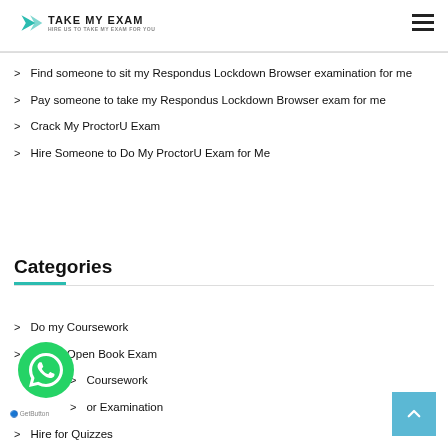TAKE MY EXAM
Find someone to sit my Respondus Lockdown Browser examination for me
Pay someone to take my Respondus Lockdown Browser exam for me
Crack My ProctorU Exam
Hire Someone to Do My ProctorU Exam for Me
Categories
Do my Coursework
Do My Open Book Exam
Coursework
or Examination
Hire for Quizzes